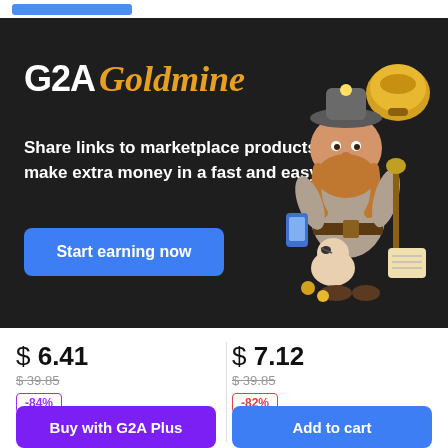[Figure (illustration): G2A Goldmine promotional banner with logo, tagline, and mascot dwarf character holding a gold bag]
$ 6.41
$ 39.85 (strikethrough)
-84%
$ 7.12
$ 39.85 (strikethrough)
-82%
Buy with G2A Plus
Add to cart